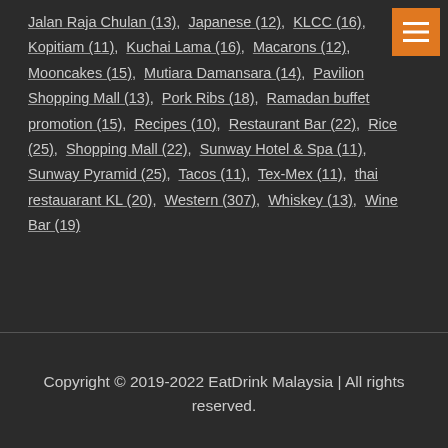Jalan Raja Chulan (13),  Japanese (12),  KLCC (16),  Kopitiam (11),  Kuchai Lama (16),  Macarons (12),  Mooncakes (15),  Mutiara Damansara (14),  Pavilion Shopping Mall (13),  Pork Ribs (18),  Ramadan buffet promotion (15),  Recipes (10),  Restaurant Bar (22),  Rice (25),  Shopping Mall (22),  Sunway Hotel & Spa (11),  Sunway Pyramid (25),  Tacos (11),  Tex-Mex (11),  thai restauarant KL (20),  Western (307),  Whiskey (13),  Wine Bar (19)
Copyright © 2019-2022 EatDrink Malaysia | All rights reserved.